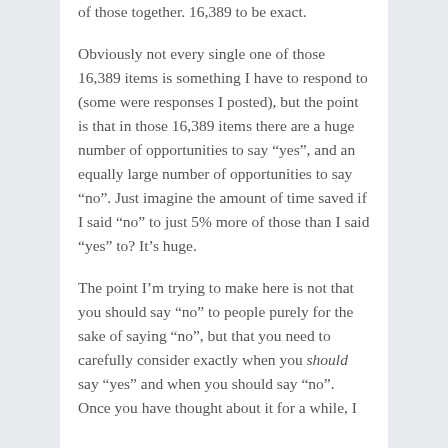of those together. 16,389 to be exact.
Obviously not every single one of those 16,389 items is something I have to respond to (some were responses I posted), but the point is that in those 16,389 items there are a huge number of opportunities to say “yes”, and an equally large number of opportunities to say “no”. Just imagine the amount of time saved if I said “no” to just 5% more of those than I said “yes” to? It’s huge.
The point I’m trying to make here is not that you should say “no” to people purely for the sake of saying “no”, but that you need to carefully consider exactly when you should say “yes” and when you should say “no”. Once you have thought about it for a while, I